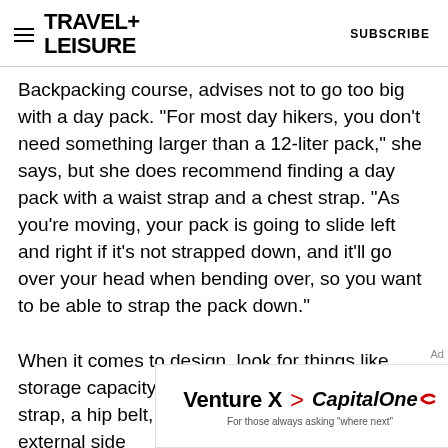TRAVEL+ LEISURE | SUBSCRIBE
Backpacking course, advises not to go too big with a day pack. "For most day hikers, you don't need something larger than a 12-liter pack," she says, but she does recommend finding a day pack with a waist strap and a chest strap. "As you're moving, your pack is going to slide left and right if it's not strapped down, and it'll go over your head when bending over, so you want to be able to strap the pack down."
When it comes to design, look for things like storage capacity, pockets, waist straps, a chest strap, a hip belt, water reservoir pockets or external side
[Figure (other): Capital One Venture X advertisement banner: 'Venture X > Capital One — For those always asking "where next"']